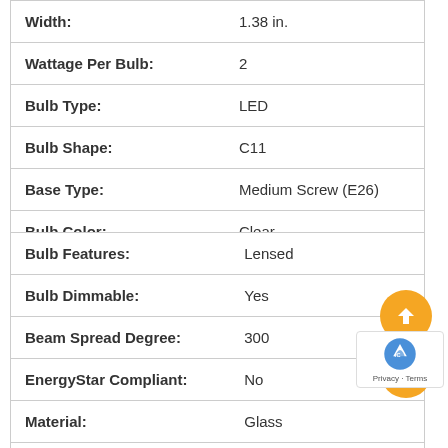| Attribute | Value |
| --- | --- |
| Width: | 1.38 in. |
| Wattage Per Bulb: | 2 |
| Bulb Type: | LED |
| Bulb Shape: | C11 |
| Base Type: | Medium Screw (E26) |
| Bulb Color: | Clear |
| Attribute | Value |
| --- | --- |
| Bulb Features: | Lensed |
| Bulb Dimmable: | Yes |
| Beam Spread Degree: | 300 |
| EnergyStar Compliant: | No |
| Material: | Glass |
| Shipping: | UPS Regular |